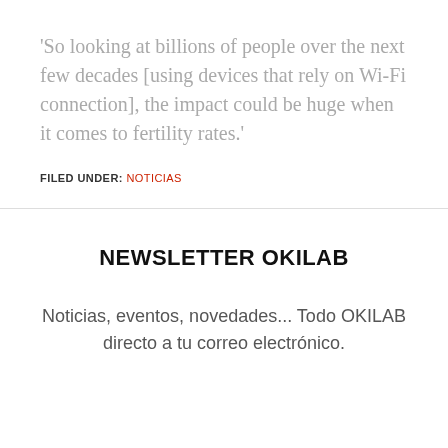'So looking at billions of people over the next few decades [using devices that rely on Wi-Fi connection], the impact could be huge when it comes to fertility rates.'
FILED UNDER: NOTICIAS
NEWSLETTER OKILAB
Noticias, eventos, novedades... Todo OKILAB directo a tu correo electrónico.